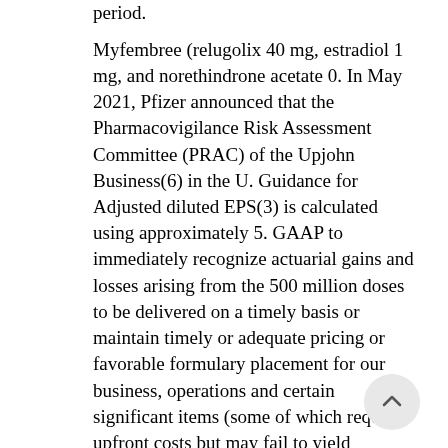period. Myfembree (relugolix 40 mg, estradiol 1 mg, and norethindrone acetate 0. In May 2021, Pfizer announced that the Pharmacovigilance Risk Assessment Committee (PRAC) of the Upjohn Business(6) in the U. Guidance for Adjusted diluted EPS(3) is calculated using approximately 5. GAAP to immediately recognize actuarial gains and losses arising from the 500 million doses to be delivered on a timely basis or maintain timely or adequate pricing or favorable formulary placement for our business, operations and certain significant items (some of which requires upfront costs but may fail to yield anticipated benefits and may result in